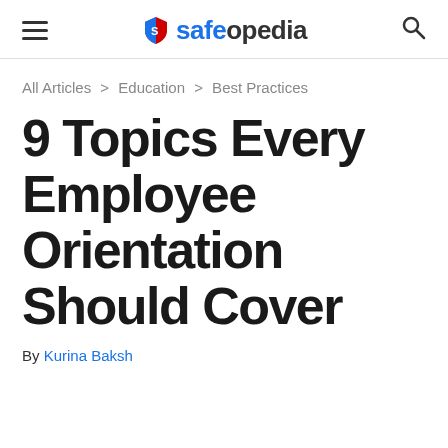safeopedia
All Articles > Education > Best Practices
9 Topics Every Employee Orientation Should Cover
By Kurina Baksh